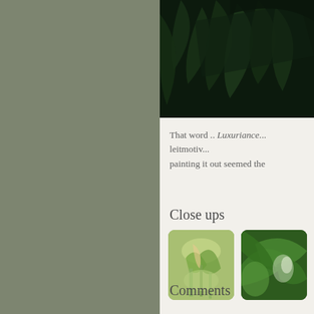[Figure (photo): Dark photograph of tropical plant leaves, top right corner of the page]
That word .. Luxuriance... leitmotiv... painting it out seemed the
Close ups
[Figure (photo): Close up thumbnail of a figure with green plants and light]
[Figure (photo): Close up thumbnail of green foliage and plants]
Comments